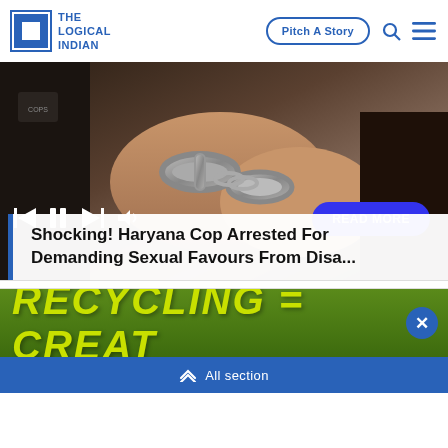The Logical Indian | Pitch A Story
[Figure (photo): Close-up photo of hands in handcuffs, dark background. Media player controls (skip back, pause, skip forward, volume) visible at bottom left. 'READ MORE' button in blue pill shape at bottom right.]
Shocking! Haryana Cop Arrested For Demanding Sexual Favours From Disa...
[Figure (other): Green advertisement banner with yellow italic bold text 'RECYCLING = GREAT...' with a close button (X) on the right]
All section